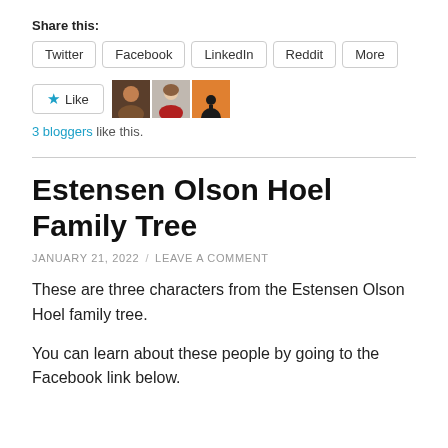Share this:
Twitter
Facebook
LinkedIn
Reddit
More
[Figure (other): Like button with star icon and three blogger avatar thumbnails]
3 bloggers like this.
Estensen Olson Hoel Family Tree
JANUARY 21, 2022 / LEAVE A COMMENT
These are three characters from the Estensen Olson Hoel family tree.
You can learn about these people by going to the Facebook link below.